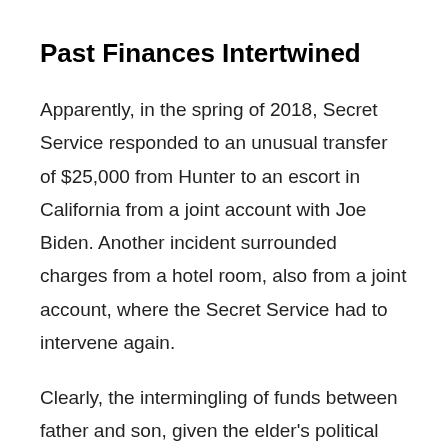Past Finances Intertwined
Apparently, in the spring of 2018, Secret Service responded to an unusual transfer of $25,000 from Hunter to an escort in California from a joint account with Joe Biden. Another incident surrounded charges from a hotel room, also from a joint account, where the Secret Service had to intervene again.
Clearly, the intermingling of funds between father and son, given the elder's political stance,